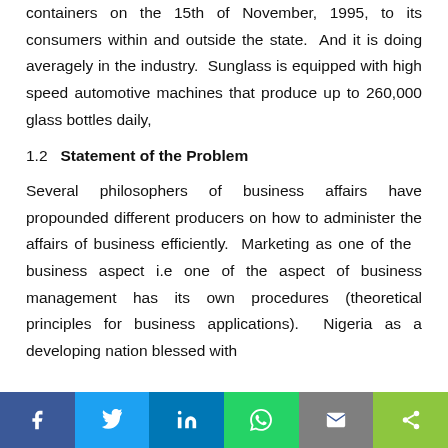containers on the 15th of November, 1995, to its consumers within and outside the state.  And it is doing averagely in the industry.  Sunglass is equipped with high speed automotive machines that produce up to 260,000 glass bottles daily,
1.2   Statement of the Problem
Several philosophers of business affairs have propounded different producers on how to administer the affairs of business efficiently.  Marketing as one of the  business aspect i.e one of the aspect of business management has its own procedures (theoretical principles for business applications).  Nigeria as a developing nation blessed with